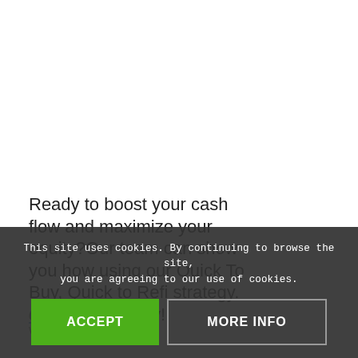Ready to boost your cash flow and maximize your equity?Our team can show you how using our Quick To Buy, Quick to Refi strategy. Contact us today!
0 COMMENTS / BY WELDON
This site uses cookies. By continuing to browse the site, you are agreeing to our use of cookies.